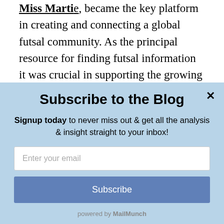Miss Martle, became the key platform in creating and connecting a global futsal community. As the principal resource for finding futsal information it was crucial in supporting the growing interest in the game. Its reputation and popularity grew to such an extent that its annual awards for the best performers
[Figure (screenshot): Subscribe to the Blog modal popup with light blue background, close button (x), title 'Subscribe to the Blog', subtitle 'Signup today to never miss out & get all the analysis & insight straight to your inbox!', email input field, Subscribe button, and 'powered by MailMunch' footer.]